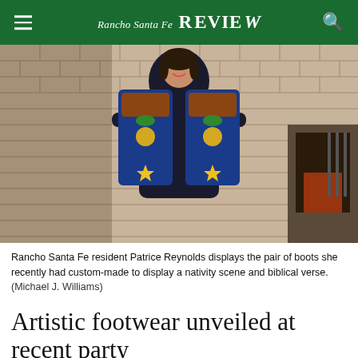Rancho Santa Fe REVIEW
[Figure (photo): A woman in a dark turtleneck sweater stands in front of a brick fireplace holding up a pair of custom-painted cowboy boots featuring a nativity scene with colorful artwork and a biblical verse.]
Rancho Santa Fe resident Patrice Reynolds displays the pair of boots she recently had custom-made to display a nativity scene and biblical verse.
 (Michael J. Williams)
Artistic footwear unveiled at recent party